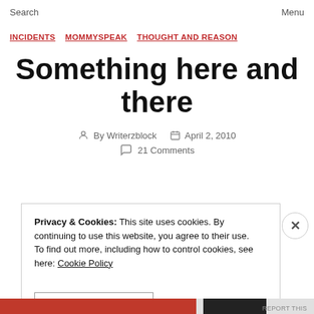Search   Menu
INCIDENTS   MOMMYSPEAK   THOUGHT AND REASON
Something here and there
By Writerzblock   April 2, 2010
21 Comments
Privacy & Cookies: This site uses cookies. By continuing to use this website, you agree to their use. To find out more, including how to control cookies, see here: Cookie Policy
CLOSE AND ACCEPT